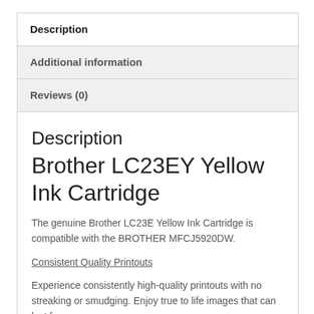Description
Additional information
Reviews (0)
Description
Brother LC23EY Yellow Ink Cartridge
The genuine Brother LC23E Yellow Ink Cartridge is compatible with the BROTHER MFCJ5920DW.
Consistent Quality Printouts
Experience consistently high-quality printouts with no streaking or smudging. Enjoy true to life images that can last for